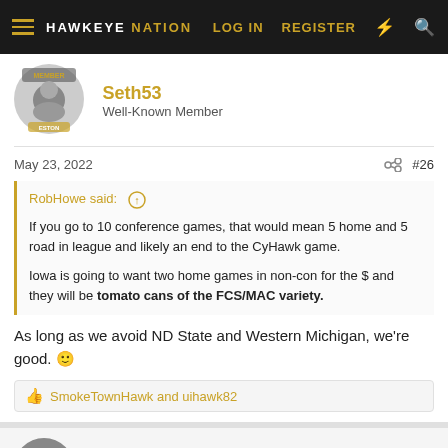HAWKEYE NATION — LOG IN   REGISTER
[Figure (screenshot): User avatar for Seth53, circular grayscale image with 'MEMBER' badge]
Seth53
Well-Known Member
May 23, 2022
#26
RobHowe said:
If you go to 10 conference games, that would mean 5 home and 5 road in league and likely an end to the CyHawk game.
Iowa is going to want two home games in non-con for the $ and they will be tomato cans of the FCS/MAC variety.
As long as we avoid ND State and Western Michigan, we're good. 🙂
SmokeTownHawk and uihawk82
[Figure (photo): User avatar for HuckFinn, circular photo]
HuckFinn
Well-Known Member